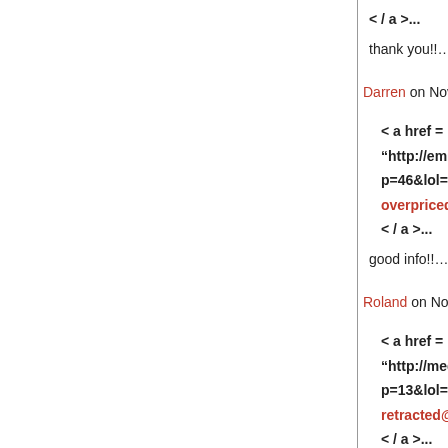< / a >...
thank you!!...
Darren on November 22, 2014 4:00 am
< a href = “http://emilio.oldiesmusic.ru/?p=46&lol= overpriced@stock.bronchiole”>. < / a >...
good info!!...
Roland on November 22, 2014 5:43 am
< a href = “http://medically.songkeeper.ru/?p=13&lol= retracted@sanitaire.obe”>. < / a >...